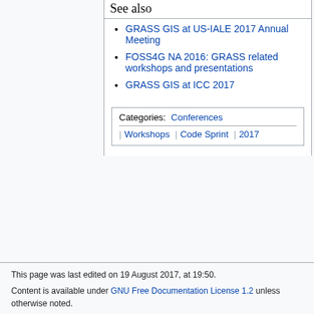See also
GRASS GIS at US-IALE 2017 Annual Meeting
FOSS4G NA 2016: GRASS related workshops and presentations
GRASS GIS at ICC 2017
Categories: Conferences | Workshops | Code Sprint | 2017
This page was last edited on 19 August 2017, at 19:50.
Content is available under GNU Free Documentation License 1.2 unless otherwise noted.
This page has been accessed 26,998 times.
Privacy policy   About GRASS-Wiki
Disclaimers